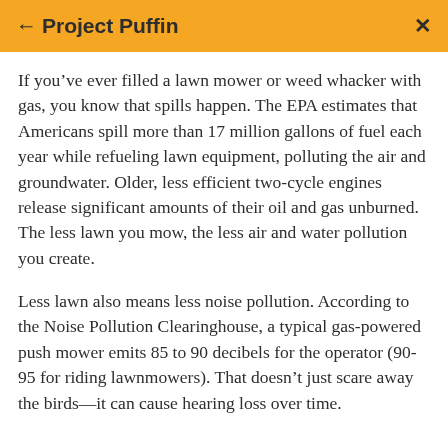← Project Puffin  ×
If you've ever filled a lawn mower or weed whacker with gas, you know that spills happen. The EPA estimates that Americans spill more than 17 million gallons of fuel each year while refueling lawn equipment, polluting the air and groundwater. Older, less efficient two-cycle engines release significant amounts of their oil and gas unburned. The less lawn you mow, the less air and water pollution you create.
Less lawn also means less noise pollution. According to the Noise Pollution Clearinghouse, a typical gas-powered push mower emits 85 to 90 decibels for the operator (90-95 for riding lawnmowers). That doesn't just scare away the birds—it can cause hearing loss over time.